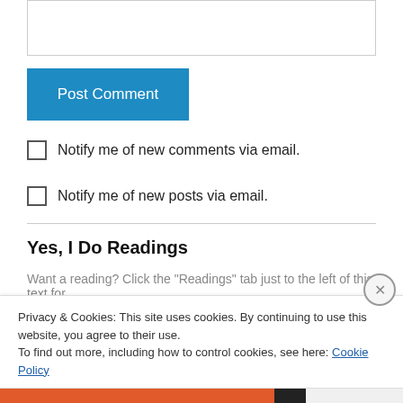[Figure (screenshot): Text input box (comment field) at top of page]
Post Comment
Notify me of new comments via email.
Notify me of new posts via email.
Yes, I Do Readings
Want a reading? Click the "Readings" tab just to the left of this text for
Privacy & Cookies: This site uses cookies. By continuing to use this website, you agree to their use.
To find out more, including how to control cookies, see here: Cookie Policy
Close and accept